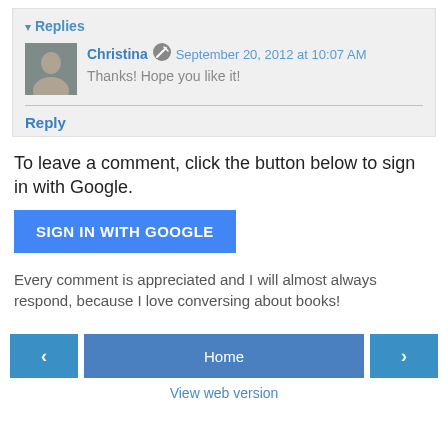▾ Replies
Christina ✎ September 20, 2012 at 10:07 AM
Thanks! Hope you like it!
Reply
To leave a comment, click the button below to sign in with Google.
[Figure (other): SIGN IN WITH GOOGLE button]
Every comment is appreciated and I will almost always respond, because I love conversing about books!
[Figure (other): Navigation bar with left arrow, Home, and right arrow buttons]
View web version